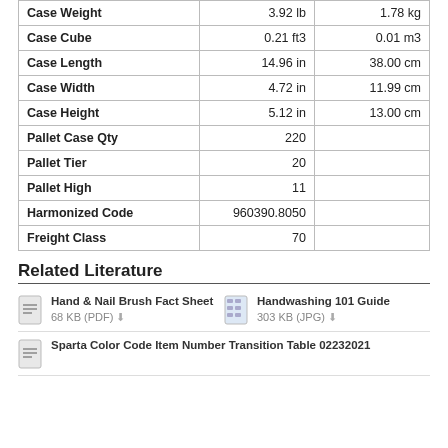|  |  |  |
| --- | --- | --- |
| Case Weight | 3.92 lb | 1.78 kg |
| Case Cube | 0.21 ft3 | 0.01 m3 |
| Case Length | 14.96 in | 38.00 cm |
| Case Width | 4.72 in | 11.99 cm |
| Case Height | 5.12 in | 13.00 cm |
| Pallet Case Qty | 220 |  |
| Pallet Tier | 20 |  |
| Pallet High | 11 |  |
| Harmonized Code | 960390.8050 |  |
| Freight Class | 70 |  |
Related Literature
Hand & Nail Brush Fact Sheet
68 KB (PDF)
Handwashing 101 Guide
303 KB (JPG)
Sparta Color Code Item Number Transition Table 02232021